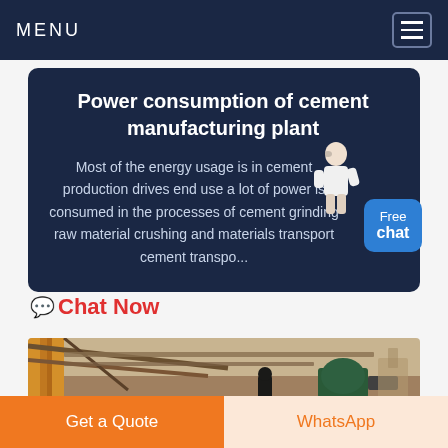MENU
Power consumption of cement manufacturing plant
Most of the energy usage is in cement production drives end use a lot of power is consumed in the processes of cement grinding raw material crushing and materials transport cement transpo...
Chat Now
[Figure (photo): Industrial cement plant equipment with scaffolding and machinery, outdoors]
Get a Quote
WhatsApp